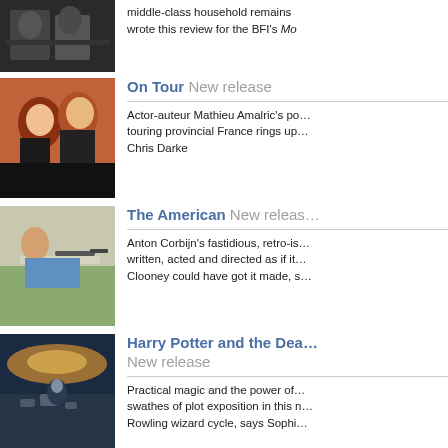[Figure (photo): Black and white photo of people at a table, partial/cropped at top of page]
middle-class household remains … wrote this review for the BFI's Mo…
[Figure (photo): Color photo of smiling women, On Tour film still]
On Tour New release
Actor-auteur Mathieu Amalric's po… touring provincial France rings up… Chris Darke
[Figure (photo): Color photo of man aiming a rifle, The American film still]
The American New release
Anton Corbijn's fastidious, retro-is… written, acted and directed as if it… Clooney could have got it made, s…
[Figure (photo): Color photo of person standing on rocks at dusk, Harry Potter film still]
Harry Potter and the Dea… New release
Practical magic and the power of… swathes of plot exposition in this n… Rowling wizard cycle, says Sophi…
[Figure (photo): Dark indoor photo, Let Me In film still]
Let Me In New release
A US remake of the hit Swedish v… Matt Reeves' film may be less da… horror film, finds Kim Newman